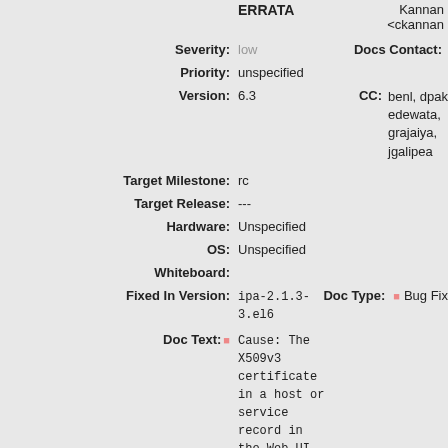ERRATA
Kannan <ckannan
Severity: low    Docs Contact:
Priority: unspecified
Version: 6.3    CC: benl, dpal, edewata, grajaiya, jgalipea
Target Milestone: rc
Target Release: ---
Hardware: Unspecified
OS: Unspecified
Whiteboard:
Fixed In Version: ipa-2.1.3-3.el6    Doc Type: Bug Fix
Doc Text: Cause: The X509v3 certificate in a host or service record in the Web UI was not properly formatted so was not